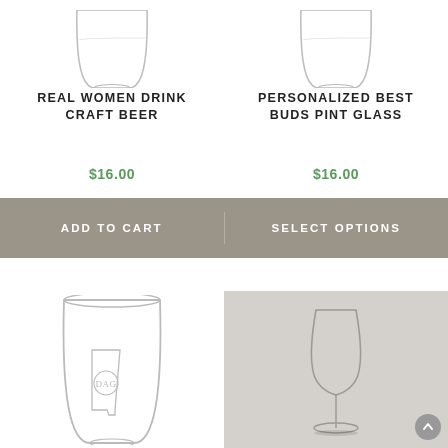[Figure (photo): Pint glass with 'Real Women Drink Craft Beer' engraving, partially visible at top]
[Figure (photo): Pint glass personalized 'Best Buds Pint Glass', partially visible at top]
REAL WOMEN DRINK CRAFT BEER
PERSONALIZED BEST BUDS PINT GLASS
$16.00
$16.00
ADD TO CART
SELECT OPTIONS
[Figure (photo): Clear pint glass with Alabama state outline and monogram etching]
[Figure (photo): Stemmed craft beer glass (tulip/IPA style) on gray background]